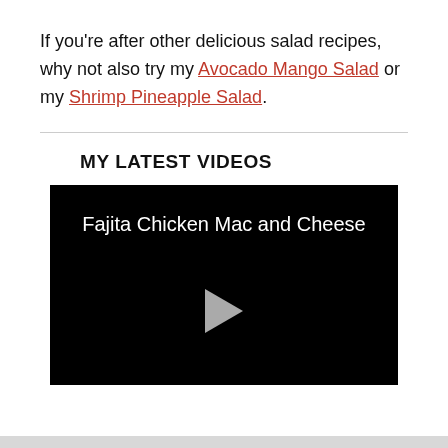If you're after other delicious salad recipes, why not also try my Avocado Mango Salad or my Shrimp Pineapple Salad.
MY LATEST VIDEOS
[Figure (other): Black video player thumbnail with title 'Fajita Chicken Mac and Cheese' and a play button in the center]